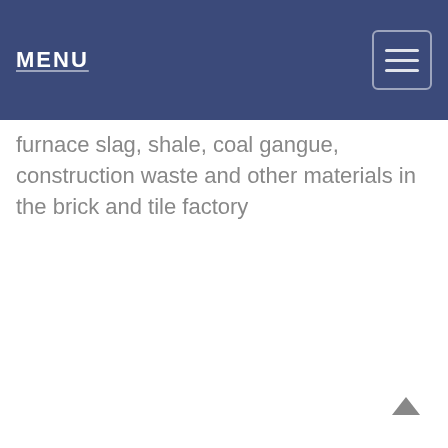MENU
furnace slag, shale, coal gangue, construction waste and other materials in the brick and tile factory